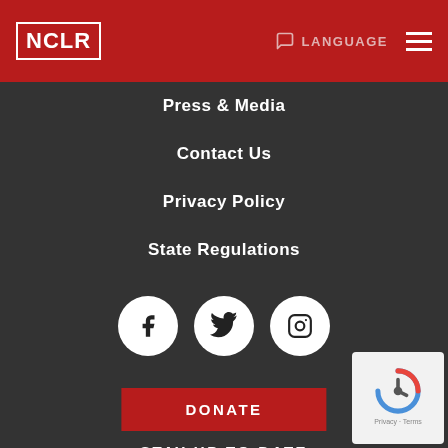[Figure (logo): NCLR logo in white text with white border on red background header bar, with LANGUAGE button and hamburger menu]
Press & Media
Contact Us
Privacy Policy
State Regulations
[Figure (illustration): Three white circles with social media icons: Facebook (f), Twitter (bird), Instagram (camera)]
DONATE
STAY UP TO DATE
GET OUR EMAIL UPDATES
[Figure (other): reCAPTCHA badge with Privacy and Terms links]